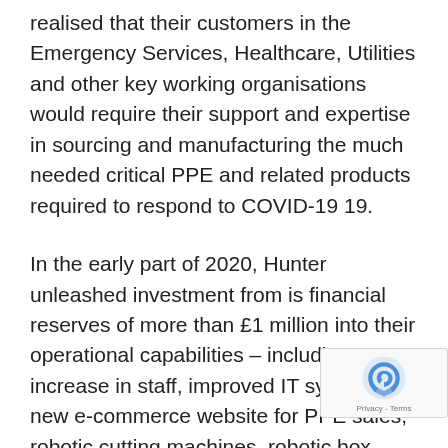realised that their customers in the Emergency Services, Healthcare, Utilities and other key working organisations would require their support and expertise in sourcing and manufacturing the much needed critical PPE and related products required to respond to COVID-19 19.
In the early part of 2020, Hunter unleashed investment from is financial reserves of more than £1 million into their operational capabilities – including a 38% increase in staff, improved IT systems, a new e-commerce website for PPE sales, robotic cutting machines, robotic box making and wrapping machines, pallet makers and expanded their operational spaces. All of these investments were made in conjunction with the c leadership team working 7 days a week, sometim to 18 hours per day, to understand the needs of t